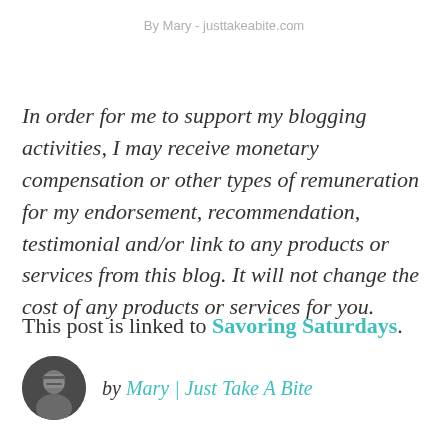By Mary - justtakeabite.com
In order for me to support my blogging activities, I may receive monetary compensation or other types of remuneration for my endorsement, recommendation, testimonial and/or link to any products or services from this blog. It will not change the cost of any products or services for you.
This post is linked to Savoring Saturdays.
by Mary | Just Take A Bite